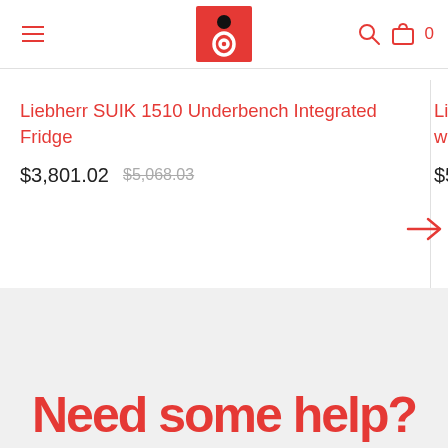Navigation header with hamburger menu, logo (8), search icon, and cart icon (0)
Liebherr SUIK 1510 Underbench Integrated Fridge
$3,801.02   $5,068.03
Liebherr SKBe with BioFresh
$5,119.30   $6...
Need some help?